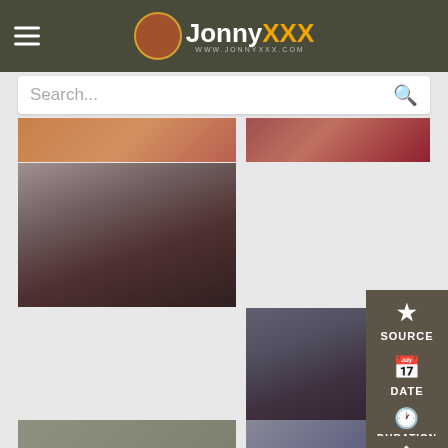JonnyXXX - www.jonnyxxx.com
Search...
[Figure (screenshot): Video thumbnail grid showing adult content website with multiple video thumbnails]
SOURCE
DATE
DURATION
GOUP